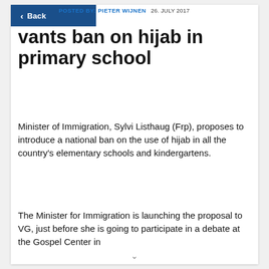POSTED BY: PIETER WIJNEN  26. JULY 2017
...g wants ban on hijab in primary school
Minister of Immigration, Sylvi Listhaug (Frp), proposes to introduce a national ban on the use of hijab in all the country's elementary schools and kindergartens.
The Minister for Immigration is launching the proposal to VG, just before she is going to participate in a debate at the Gospel Center in